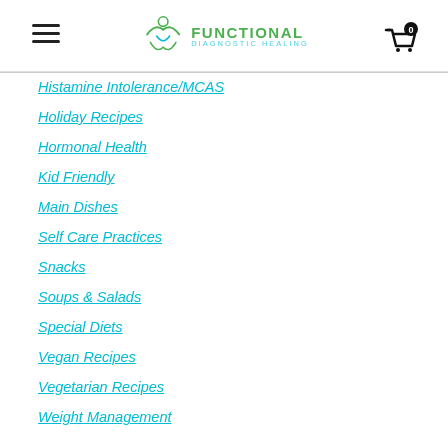Functional Diagnostic Healing
Histamine Intolerance/MCAS
Holiday Recipes
Hormonal Health
Kid Friendly
Main Dishes
Self Care Practices
Snacks
Soups & Salads
Special Diets
Vegan Recipes
Vegetarian Recipes
Weight Management